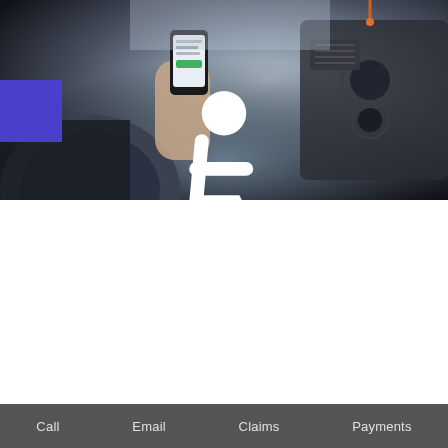[Figure (photo): A driver inside a car holding a smartphone while behind the steering wheel, depicting distracted driving. A small blue accessibility icon (wheelchair symbol) is overlaid in the top-left of the image.]
The Dangers of Distracted Driving
April 30, 2019 Rachel V
Next time you're reading a book, stand up and try to walk around while doing so. It's tougher than you'd think,
Call  Email  Claims  Payments